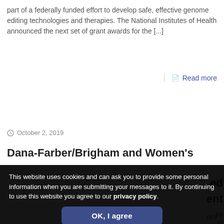part of a federally funded effort to develop safe, effective genome editing technologies and therapies. The National Institutes of Health announced the next set of grant awards for the [...]
Read more
October 2, 2019
Dana-Farber/Brigham and Women's
This website uses cookies and can ask you to provide some personal information when you are submitting your messages to it. By continuing to use this website you agree to our privacy policy.
OK, I agree